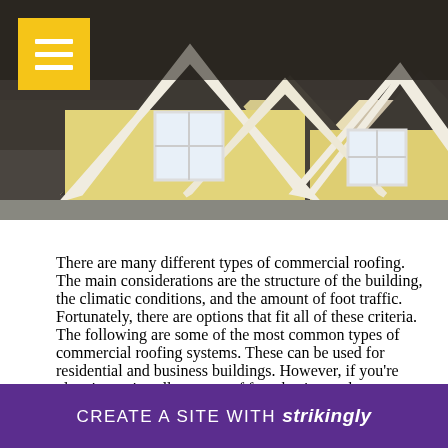[Figure (photo): Photograph of a residential house with dark tiled roofs showing multiple peaked gable dormers with white trim and yellow/cream colored siding, with a hamburger menu icon button in the top left corner.]
There are many different types of commercial roofing. The main considerations are the structure of the building, the climatic conditions, and the amount of foot traffic. Fortunately, there are options that fit all of these criteria. The following are some of the most common types of commercial roofing systems. These can be used for residential and business buildings. However, if you're planning to install a new roof for a business, there
CREATE A SITE WITH strikingly